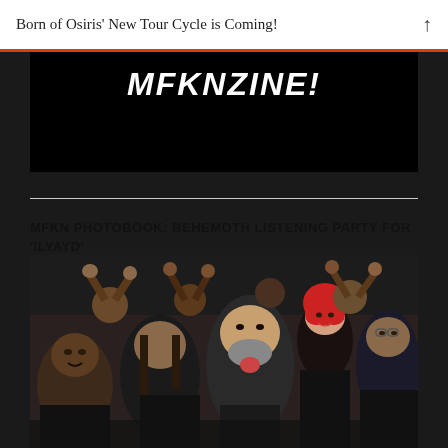Born of Osiris' New Tour Cycle is Coming!
[Figure (photo): MFKNZINE! banner logo on black background]
MFKN PHOTOBOOK: BEHEMOTH LISTENING PARTY FOR 'ILYAYD'
[Figure (photo): Group photo of metal fans at Behemoth listening party, people making rock hand gestures and expressions, one woman with bright red hair, crowded scene]